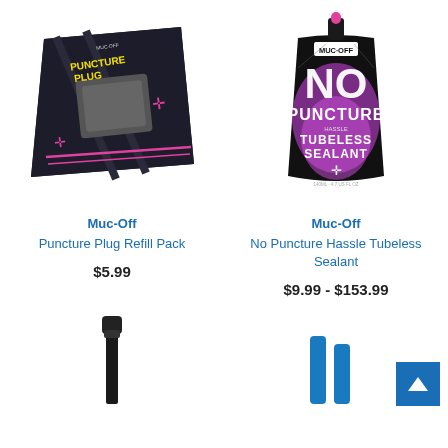[Figure (photo): Muc-Off Puncture Plug Refill Pack product image on dark blister card packaging]
[Figure (photo): Muc-Off No Puncture Hassle Tubeless Sealant in a black and pink pouch with pink cap]
Muc-Off
Puncture Plug Refill Pack
$5.99
Muc-Off
No Puncture Hassle Tubeless Sealant
$9.99 - $153.99
[Figure (photo): Partial image of a black valve tool/pump accessory at the bottom left]
[Figure (photo): Partial image of blue valve caps/stems at the bottom right]